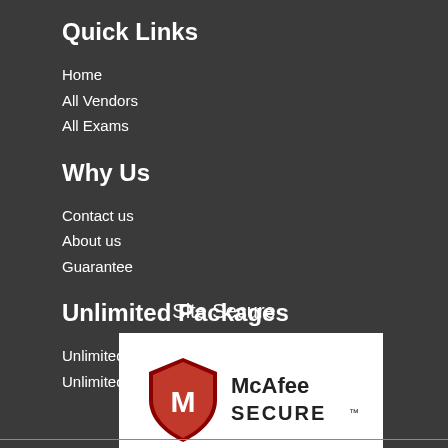Quick Links
Home
All Vendors
All Exams
Why Us
Contact us
About us
Guarantee
Unlimited Packages
Unlimited Engine
Unlimited Vendor
Site Secure
[Figure (logo): McAfee SECURE logo with red shield and M icon]
TESTED 01 Sep 2022